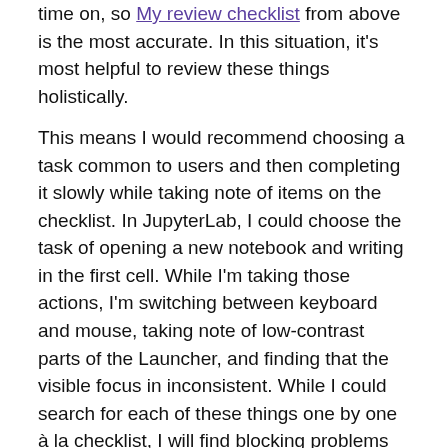time on, so My review checklist from above is the most accurate. In this situation, it's most helpful to review these things holistically.
This means I would recommend choosing a task common to users and then completing it slowly while taking note of items on the checklist. In JupyterLab, I could choose the task of opening a new notebook and writing in the first cell. While I'm taking those actions, I'm switching between keyboard and mouse, taking note of low-contrast parts of the Launcher, and finding that the visible focus in inconsistent. While I could search for each of these things one by one à la checklist, I will find blocking problems and the ways they overlap by following the path of a user.
Reviewing documentation
Documentation is usually a combination of text with images or videos, so the Text and Non-text sections will be a good place to start. Consistency is especially key here, because the last thing you want when people are exploring—for help or learning—is to be confused. Having a style